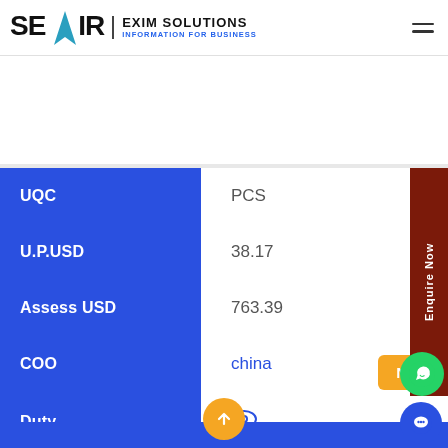SEAIR EXIM SOLUTIONS — INFORMATION FOR BUSINESS
| Field | Value |
| --- | --- |
| UQC | PCS |
| U.P.USD | 38.17 |
| Assess USD | 763.39 |
| COO | china |
| Duty | (view icon) |